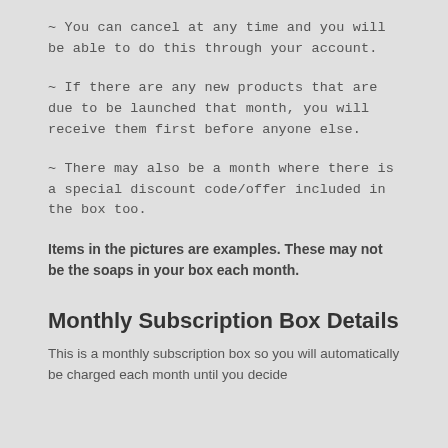~ You can cancel at any time and you will be able to do this through your account.
~ If there are any new products that are due to be launched that month, you will receive them first before anyone else.
~ There may also be a month where there is a special discount code/offer included in the box too.
Items in the pictures are examples. These may not be the soaps in your box each month.
Monthly Subscription Box Details
This is a monthly subscription box so you will automatically be charged each month until you decide